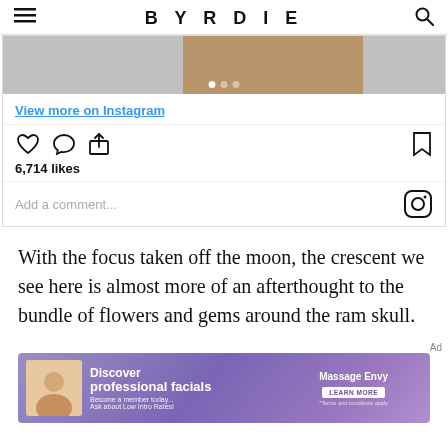BYRDIE
[Figure (screenshot): Instagram embed showing close-up skin/body image with white dots carousel indicator, 'View more on Instagram' link, like/comment/share icons, bookmark icon, 6,714 likes, and 'Add a comment...' field with Instagram logo]
With the focus taken off the moon, the crescent we see here is almost more of an afterthought to the bundle of flowers and gems around the ram skull.
[Figure (infographic): Massage Envy advertisement banner: 'Discover professional facials - Become a member today... Ask about Low Intro Rates! *Terms and conditions apply' with 'LEARN MORE' button]